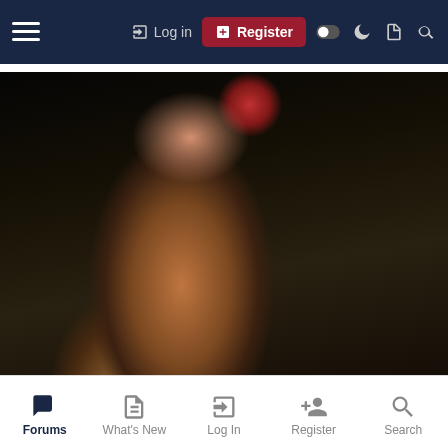Log in | Register
[Figure (photo): Partial view of a woman's face and neck with red lips, wearing a dark jacket, close-up portrait style]
👍😍 schuster, 4x5Australian, gurtch and 13 others
Stella Michaels
Member
Forums | What's New | Log In | Register | Search